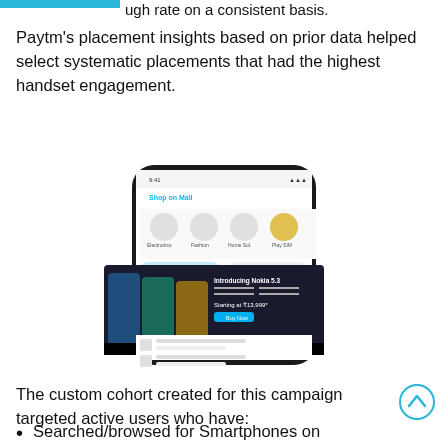ugh rate on a consistent basis.
Paytm's placement insights based on prior data helped select systematic placements that had the highest handset engagement.
[Figure (screenshot): Screenshot of a smartphone displaying a Paytm app screen showing 'Shop on Mall' with icons for Electronics, Fashion, Home Solutions, and Play SIM. Overlaid is a Nokia advertisement banner featuring Nokia 5.3 smartphones in multiple colors with the text 'Introducing Nokia 5.3' and 'Starting at ₹13,999' and a 'Buy Now' button. The NOKIA logo appears at the bottom of the ad banner.]
The custom cohort created for this campaign targeted active users who have:
Searched/browsed for Smartphones on